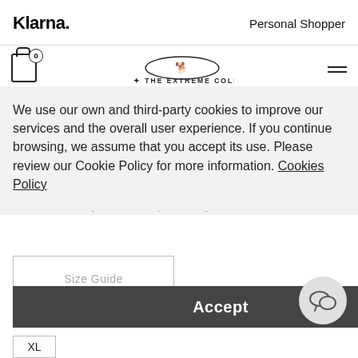Klarna. | Personal Shopper
[Figure (logo): The Extreme Collection brand logo with dog silhouette in oval, navigation bar with cart (0) and hamburger menu]
KNIT ANCONA
$495.00 (strikethrough original price)
$248.00 (sale price)
Knit Ancona is a glamorous easy to wear garment.
We use our own and third-party cookies to improve our services and the overall user experience. If you continue browsing, we assume that you accept its use. Please review our Cookie Policy for more information. Cookies Policy
Size Guide
Accept
Size: No selection
XL